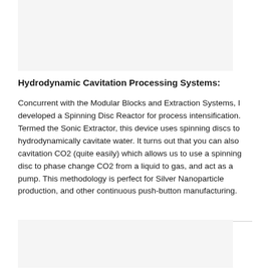[Figure (photo): Light gray image/photo placeholder at the top of the page]
Hydrodynamic Cavitation Processing Systems:
Concurrent with the Modular Blocks and Extraction Systems, I developed a Spinning Disc Reactor for process intensification. Termed the Sonic Extractor, this device uses spinning discs to hydrodynamically cavitate water. It turns out that you can also cavitation CO2 (quite easily) which allows us to use a spinning disc to phase change CO2 from a liquid to gas, and act as a pump. This methodology is perfect for Silver Nanoparticle production, and other continuous push-button manufacturing.
[Figure (photo): Light gray image/photo placeholder at the bottom of the page]